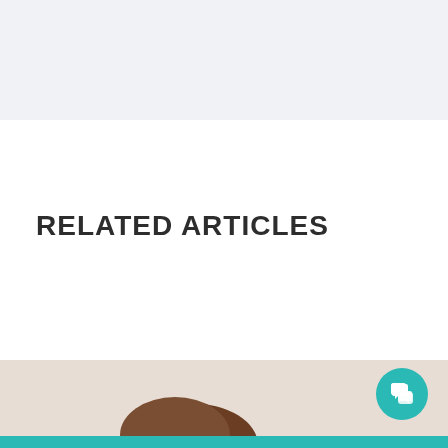RELATED ARTICLES
[Figure (photo): Top portion of a person's head with brown hair, cropped, at the bottom of the page. Teal chat bubble icon in the bottom right corner.]